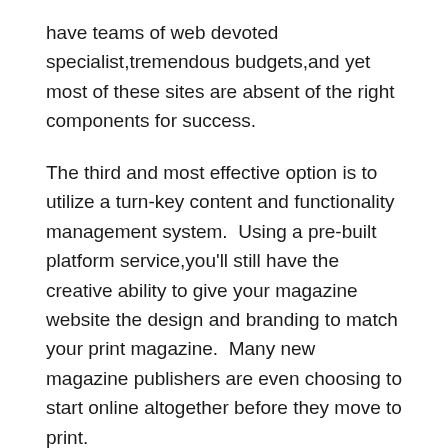have teams of web devoted specialist,tremendous budgets,and yet most of these sites are absent of the right components for success.
The third and most effective option is to utilize a turn-key content and functionality management system.  Using a pre-built platform service,you'll still have the creative ability to give your magazine website the design and branding to match your print magazine.  Many new magazine publishers are even choosing to start online altogether before they move to print.